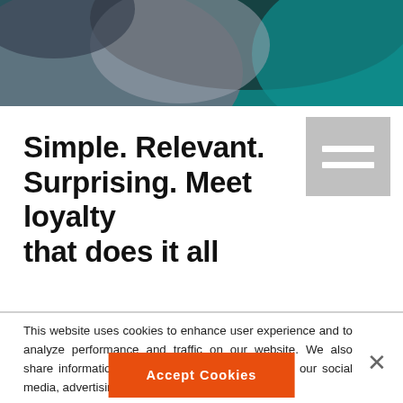[Figure (illustration): Abstract colorful hero banner image with teal, gray, and dark shapes at the top of the page]
[Figure (other): Hamburger menu icon — gray square with two white horizontal bars]
Simple. Relevant. Surprising. Meet loyalty that does it all
This website uses cookies to enhance user experience and to analyze performance and traffic on our website. We also share information about your use of our site with our social media, advertising and analytics partners.
Do Not Sell My Personal Information
Accept Cookies